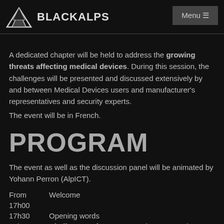BLACKALPS  Menu
A dedicated chapter will be held to address the growing threats affecting medical devices. During this session, the challenges will be presented and discussed extensively by and between Medical Devices users and manufacturer's representatives and security experts.
The event will be in French.
PROGRAM
The event as well as the discussion panel will be animated by Yohann Perron (AlpICT).
| From | Welcome |  |
| --- | --- | --- |
| 17h00 |  |  |
| 17h30 | Opening words |  |
| 17h35 | Challenges of our | Pierre-François |